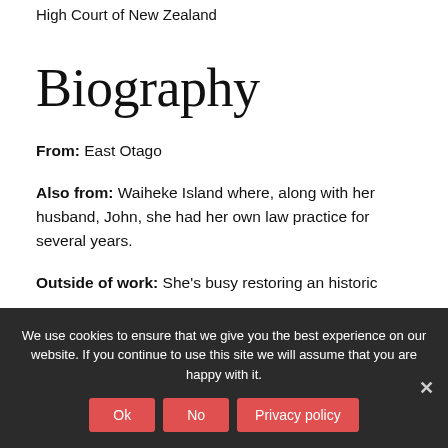Barrister & Solicitor of the High Court of New Zealand
Biography
From: East Otago
Also from: Waiheke Island where, along with her husband, John, she had her own law practice for several years.
Outside of work: She's busy restoring an historic
We use cookies to ensure that we give you the best experience on our website. If you continue to use this site we will assume that you are happy with it.